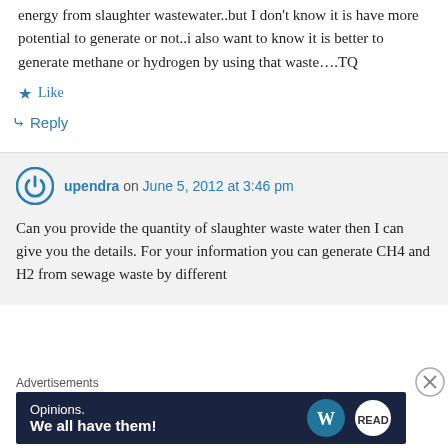energy from slaughter wastewater..but I don't know it is have more potential to generate or not..i also want to know it is better to generate methane or hydrogen by using that waste….TQ
Like
Reply
upendra on June 5, 2012 at 3:46 pm
Can you provide the quantity of slaughter waste water then I can give you the details. For your information you can generate CH4 and H2 from sewage waste by different
Advertisements
Opinions. We all have them!